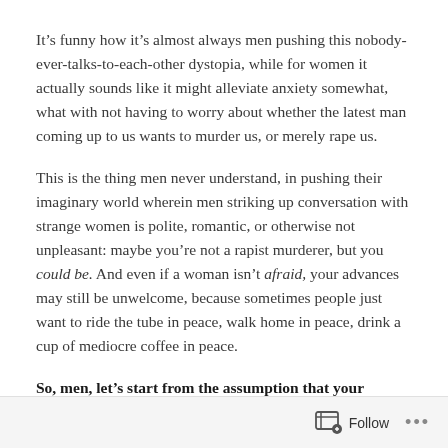It’s funny how it’s almost always men pushing this nobody-ever-talks-to-each-other dystopia, while for women it actually sounds like it might alleviate anxiety somewhat, what with not having to worry about whether the latest man coming up to us wants to murder us, or merely rape us.
This is the thing men never understand, in pushing their imaginary world wherein men striking up conversation with strange women is polite, romantic, or otherwise not unpleasant: maybe you’re not a rapist murderer, but you could be. And even if a woman isn’t afraid, your advances may still be unwelcome, because sometimes people just want to ride the tube in peace, walk home in peace, drink a cup of mediocre coffee in peace.
So, men, let’s start from the assumption that your
Follow •••